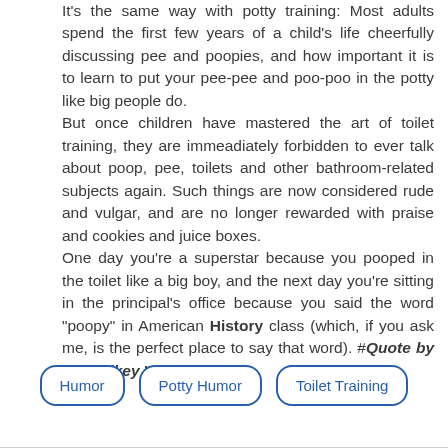It's the same way with potty training: Most adults spend the first few years of a child's life cheerfully discussing pee and poopies, and how important it is to learn to put your pee-pee and poo-poo in the potty like big people do. But once children have mastered the art of toilet training, they are immeadiately forbidden to ever talk about poop, pee, toilets and other bathroom-related subjects again. Such things are now considered rude and vulgar, and are no longer rewarded with praise and cookies and juice boxes. One day you're a superstar because you pooped in the toilet like a big boy, and the next day you're sitting in the principal's office because you said the word "poopy" in American History class (which, if you ask me, is the perfect place to say that word). #Quote by Dav Pilkey ””
Humor
Potty Humor
Toilet Training